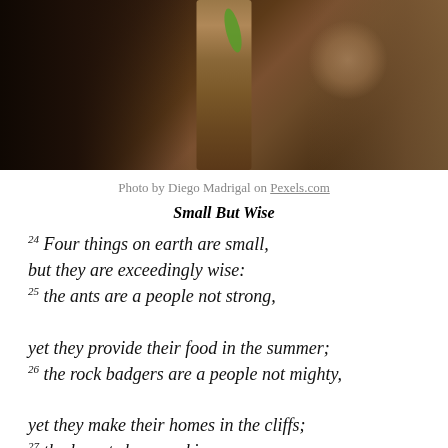[Figure (photo): Close-up photograph of a tree branch or bark at night, with dark background and some green lichen or leaves visible]
Photo by Diego Madrigal on Pexels.com
Small But Wise
24 Four things on earth are small, but they are exceedingly wise: 25 the ants are a people not strong, yet they provide their food in the summer; 26 the rock badgers are a people not mighty, yet they make their homes in the cliffs; 27 the locusts have no king, yet all of them march in rank; 28 the lizard you can take in your hands, yet it is in kings' palaces. – Prov. 30:24-28